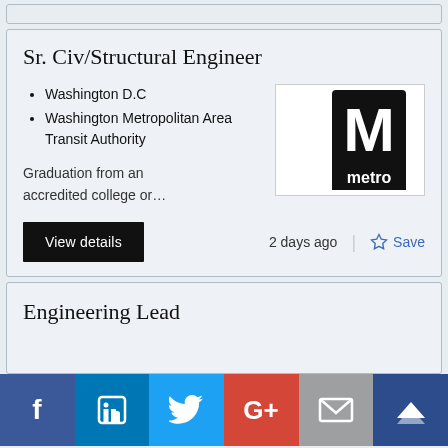Sr. Civ/Structural Engineer
Washington D.C
Washington Metropolitan Area Transit Authority
Graduation from an accredited college or…
[Figure (logo): Washington Metro logo — large white M on black square with 'metro' text below]
View details
2 days ago
Save
Engineering Lead
[Figure (infographic): Social sharing bar with Facebook, LinkedIn, Twitter, Google+, Email, and Crown icons]